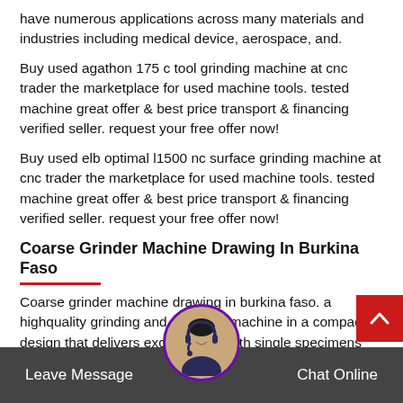have numerous applications across many materials and industries including medical device, aerospace, and.
Buy used agathon 175 c tool grinding machine at cnc trader the marketplace for used machine tools. tested machine great offer & best price transport & financing verified seller. request your free offer now!
Buy used elb optimal l1500 nc surface grinding machine at cnc trader the marketplace for used machine tools. tested machine great offer & best price transport & financing verified seller. request your free offer now!
Coarse Grinder Machine Drawing In Burkina Faso
Coarse grinder machine drawing in burkina faso. a highquality grinding and polishing machine in a compact design that delivers excell…s on both single specimens and multiple specimens in holders labosystem a
Leave Message   Chat Online